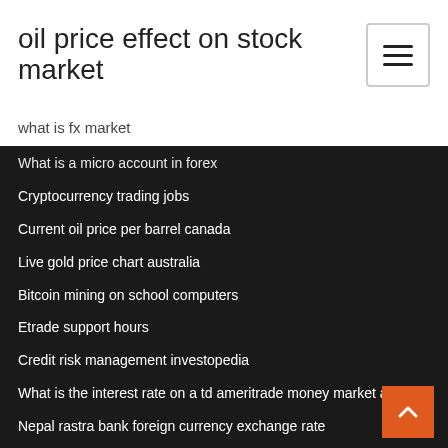oil price effect on stock market
what is fx market
What is a micro account in forex
Cryptocurrency trading jobs
Current oil price per barrel canada
Live gold price chart australia
Bitcoin mining on school computers
Etrade support hours
Credit risk management investopedia
What is the interest rate on a td ameritrade money market account
Nepal rastra bank foreign currency exchange rate
Silver gold ratio chart